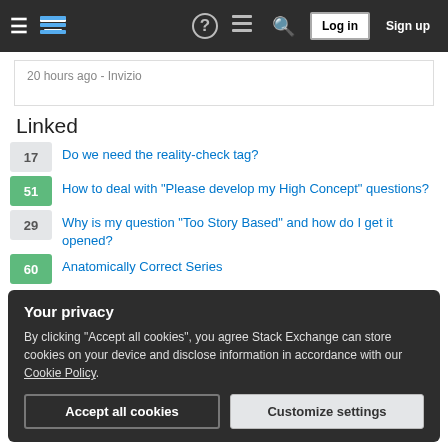Stack Exchange navigation bar with hamburger menu, logo, help, chat, search icons, Log in and Sign up buttons
20 hours ago - Invizio
Linked
17  Do we need the reality-check tag?
51  How to deal with "Please develop my High Concept" questions?
29  Why is my question "Too Story Based" and how do I get it opened?
60  Anatomically Correct Series
Your privacy
By clicking "Accept all cookies", you agree Stack Exchange can store cookies on your device and disclose information in accordance with our Cookie Policy.
Accept all cookies  Customize settings